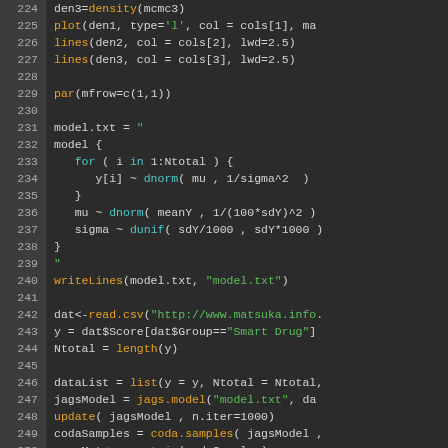[Figure (screenshot): R/JAGS code snippet showing lines 224-255. Code includes density plot commands, JAGS model definition, data loading from CSV, and MCMC sampling commands. Displayed in a dark-themed code editor with line numbers, orange/green/teal/white syntax highlighting.]